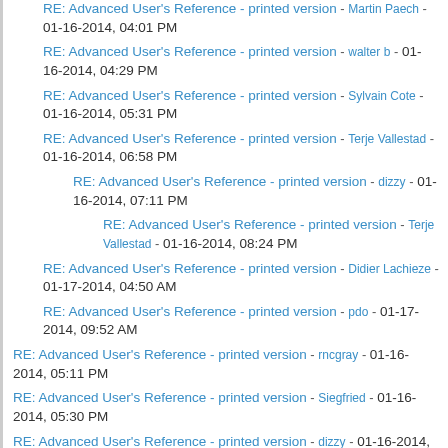RE: Advanced User's Reference - printed version - walter b - 01-16-2014, 04:29 PM
RE: Advanced User's Reference - printed version - Sylvain Cote - 01-16-2014, 05:31 PM
RE: Advanced User's Reference - printed version - Terje Vallestad - 01-16-2014, 06:58 PM
RE: Advanced User's Reference - printed version - dizzy - 01-16-2014, 07:11 PM
RE: Advanced User's Reference - printed version - Terje Vallestad - 01-16-2014, 08:24 PM
RE: Advanced User's Reference - printed version - Didier Lachieze - 01-17-2014, 04:50 AM
RE: Advanced User's Reference - printed version - pdo - 01-17-2014, 09:52 AM
RE: Advanced User's Reference - printed version - rncgray - 01-16-2014, 05:11 PM
RE: Advanced User's Reference - printed version - Siegfried - 01-16-2014, 05:30 PM
RE: Advanced User's Reference - printed version - dizzy - 01-16-2014, 06:15 PM
RE: Advanced User's Reference - printed version - Martin Paech - 01-16-2014, 06:27 PM
RE: Advanced User's Reference - printed version - walter b - 01-16-2014, 08:09 PM
RE: Advanced User's Reference - printed version - Sylvain Cote - 01-16-2014, 08:38 PM